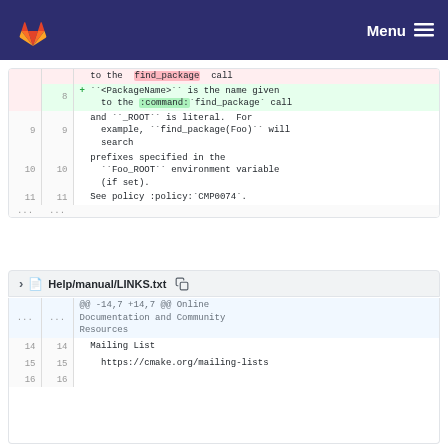Menu
| old_ln | new_ln | code |
| --- | --- | --- |
|  |  | to the  find_package  call |
| 8 |  | + ``<PackageName>`` is the name given to the :command:`find_package` call |
| 9 | 9 | and ``_ROOT`` is literal.  For example, ``find_package(Foo)`` will search |
| 10 | 10 | prefixes specified in the ``Foo_ROOT`` environment variable (if set). |
| 11 | 11 | See policy :policy:`CMP0074`. |
| ... | ... |  |
Help/manual/LINKS.txt
| old_ln | new_ln | code |
| --- | --- | --- |
| ... | ... | @@ -14,7 +14,7 @@ Online Documentation and Community Resources |
| 14 | 14 | Mailing List |
| 15 | 15 |   https://cmake.org/mailing-lists |
| 16 | 16 |  |